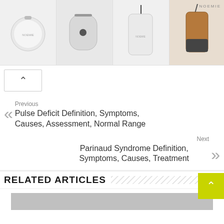[Figure (photo): Advertisement banner showing Noemie brand leather accessories: a round white pouch, white AirPods case, white phone case, and brown leather phone crossbody case. Noemie logo visible top right.]
Previous
Pulse Deficit Definition, Symptoms, Causes, Assessment, Normal Range
Next
Parinaud Syndrome Definition, Symptoms, Causes, Treatment
RELATED ARTICLES